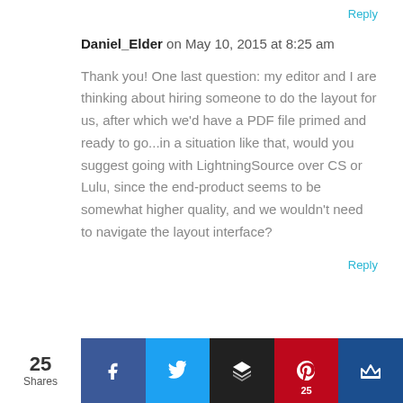Reply
Daniel_Elder on May 10, 2015 at 8:25 am
Thank you! One last question: my editor and I are thinking about hiring someone to do the layout for us, after which we'd have a PDF file primed and ready to go...in a situation like that, would you suggest going with LightningSource over CS or Lulu, since the end-product seems to be somewhat higher quality, and we wouldn't need to navigate the layout interface?
Reply
25 Shares